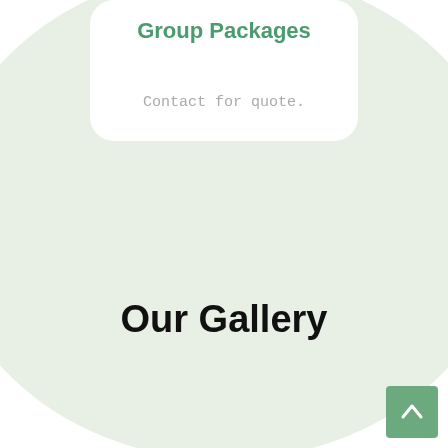Group Packages
Contact for quote.
Our Gallery
[Figure (other): Back to top button with upward chevron arrow on green background]